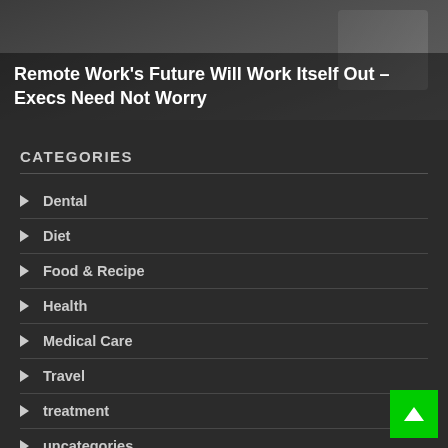[Figure (photo): Dark banner image of a person working on a laptop, with bold white text overlay reading: Remote Work's Future Will Work Itself Out – Execs Need Not Worry]
Remote Work's Future Will Work Itself Out – Execs Need Not Worry
CATEGORIES
Dental
Diet
Food & Recipe
Health
Medical Care
Travel
treatment
uncategories
Weight Loss